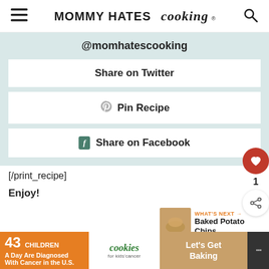MOMMY HATES cooking
@momhatescooking
Share on Twitter
Pin Recipe
Share on Facebook
[/print_recipe]
WHAT'S NEXT → Baked Potato Chips
Enjoy!
[Figure (screenshot): Ad banner: 43 CHILDREN A Day Are Diagnosed With Cancer in the U.S. — cookies for kids' cancer — Let's Get Baking]